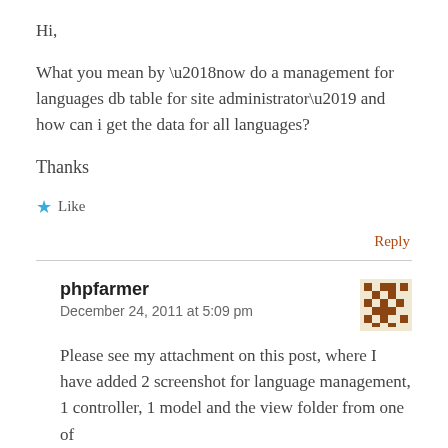Hi,
What you mean by ‘now do a management for languages db table for site administrator’ and how can i get the data for all languages?
Thanks
★ Like
Reply
phpfarmer
December 24, 2011 at 5:09 pm
Please see my attachment on this post, where I have added 2 screenshot for language management, 1 controller, 1 model and the view folder from one of